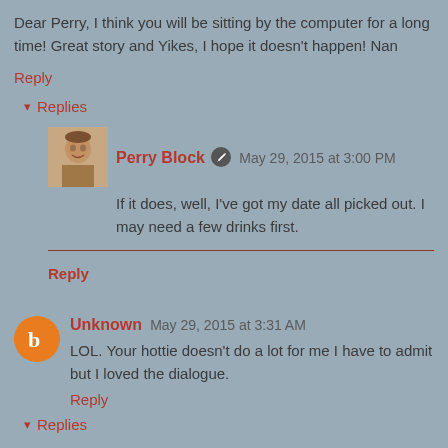Dear Perry, I think you will be sitting by the computer for a long time! Great story and Yikes, I hope it doesn't happen! Nan
Reply
Replies
[Figure (photo): Avatar photo of Perry Block]
Perry Block  May 29, 2015 at 3:00 PM
If it does, well, I've got my date all picked out. I may need a few drinks first.
Reply
[Figure (illustration): Orange circle avatar icon for Unknown commenter with blogger 'b' logo]
Unknown  May 29, 2015 at 3:31 AM
LOL. Your hottie doesn't do a lot for me I have to admit but I loved the dialogue.
Reply
Replies